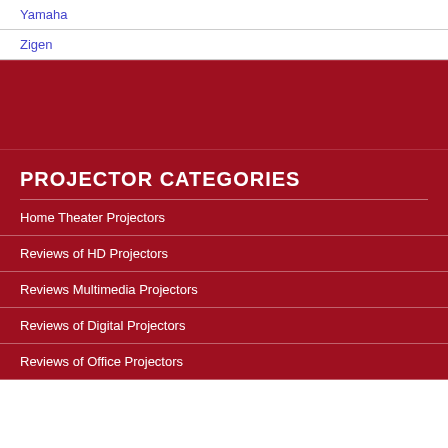Yamaha
Zigen
PROJECTOR CATEGORIES
Home Theater Projectors
Reviews of HD Projectors
Reviews Multimedia Projectors
Reviews of Digital Projectors
Reviews of Office Projectors